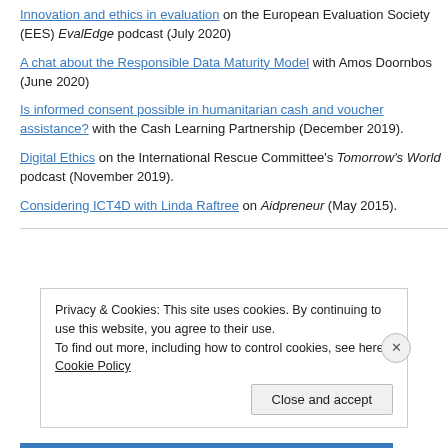Innovation and ethics in evaluation on the European Evaluation Society (EES) EvalEdge podcast (July 2020)
A chat about the Responsible Data Maturity Model with Amos Doornbos (June 2020)
Is informed consent possible in humanitarian cash and voucher assistance? with the Cash Learning Partnership (December 2019).
Digital Ethics on the International Rescue Committee's Tomorrow's World podcast (November 2019).
Considering ICT4D with Linda Raftree on Aidpreneur (May 2015).
Privacy & Cookies: This site uses cookies. By continuing to use this website, you agree to their use. To find out more, including how to control cookies, see here: Cookie Policy